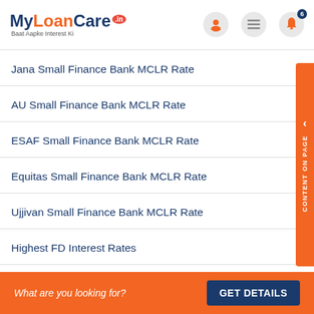MyLoanCare.in - Baat Aapke Interest Ki
Jana Small Finance Bank MCLR Rate
AU Small Finance Bank MCLR Rate
ESAF Small Finance Bank MCLR Rate
Equitas Small Finance Bank MCLR Rate
Ujjivan Small Finance Bank MCLR Rate
Highest FD Interest Rates
Highest RD Interest Rates
What are you looking for? GET DETAILS